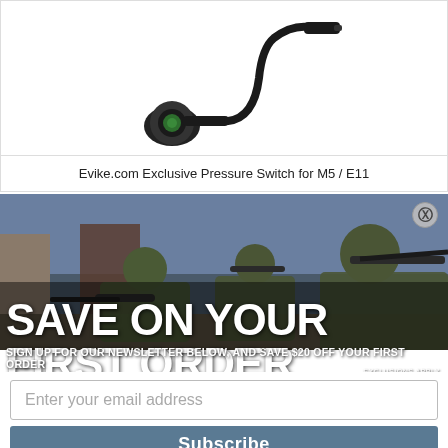[Figure (photo): Product photo of a pressure switch with flexible cable and circular end cap with green element, on white background]
Evike.com Exclusive Pressure Switch for M5 / E11
[Figure (photo): Three soldiers in camouflage gear aiming rifles, used as background for promotional overlay]
SAVE ON YOUR FIRST ORDER
SIGN UP FOR OUR NEWSLETTER BELOW, AND SAVE $20 OFF YOUR FIRST ORDER
EXCLUSIONS APPLY
Enter your email address
Subscribe